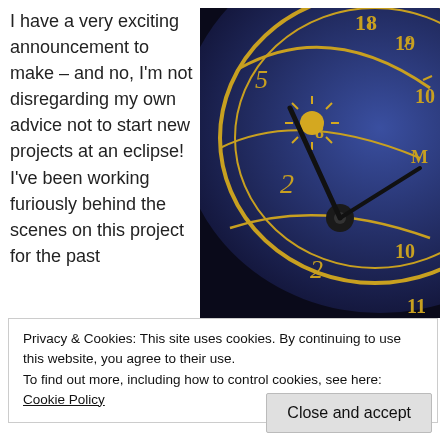I have a very exciting announcement to make – and no, I'm not disregarding my own advice not to start new projects at an eclipse! I've been working furiously behind the scenes on this project for the past
[Figure (photo): Close-up photograph of an ornate astronomical clock face with gold numerals and decorations on a dark blue background]
Privacy & Cookies: This site uses cookies. By continuing to use this website, you agree to their use.
To find out more, including how to control cookies, see here: Cookie Policy
Close and accept